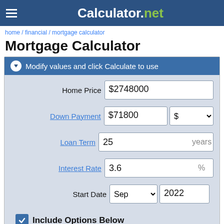Calculator.net
home / financial / mortgage calculator
Mortgage Calculator
Modify values and click Calculate to use
| Field | Value |
| --- | --- |
| Home Price | $2748000 |
| Down Payment | $71800 | $ |
| Loan Term | 25 years |
| Interest Rate | 3.6% |
| Start Date | Sep 2022 |
Include Options Below
Annual Tax & Cost